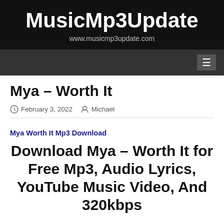[Figure (logo): MusicMp3Update website logo banner with black background, white bold text 'MusicMp3Update' and grey URL 'www.musicmp3update.com']
≡ (hamburger menu icon)
Mya – Worth It
February 3, 2022   Michael
Mya Worth It Mp3 Download
Download Mya – Worth It for Free Mp3, Audio Lyrics, YouTube Music Video, And 320kbps